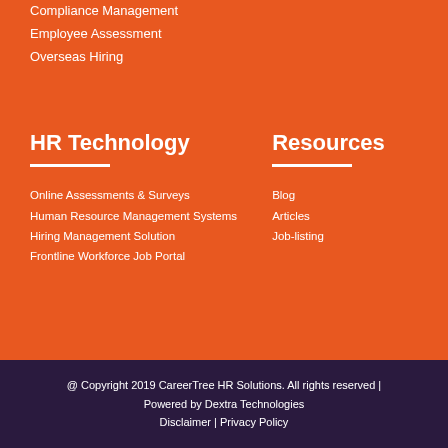Compliance Management
Employee Assessment
Overseas Hiring
HR Technology
Online Assessments & Surveys
Human Resource Management Systems
Hiring Management Solution
Frontline Workforce Job Portal
Resources
Blog
Articles
Job-listing
@ Copyright 2019 CareerTree HR Solutions. All rights reserved | Powered by Dextra Technologies Disclaimer | Privacy Policy